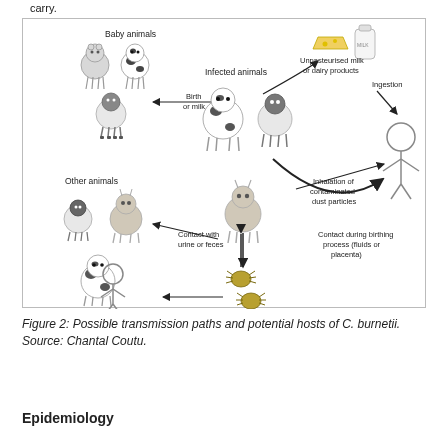carry.
[Figure (infographic): Diagram showing possible transmission paths and potential hosts of C. burnetii. Shows infected animals (cow, sheep, goat) transmitting to baby animals via birth or milk, to other animals via contact with urine or feces, to ticks (bidirectional arrows), and to humans via: ingestion of unpasteurised milk or dairy products, inhalation of contaminated dust particles, contact during birthing process (fluids or placenta), and transmission by tick bite.]
Figure 2: Possible transmission paths and potential hosts of C. burnetii. Source: Chantal Coutu.
Epidemiology